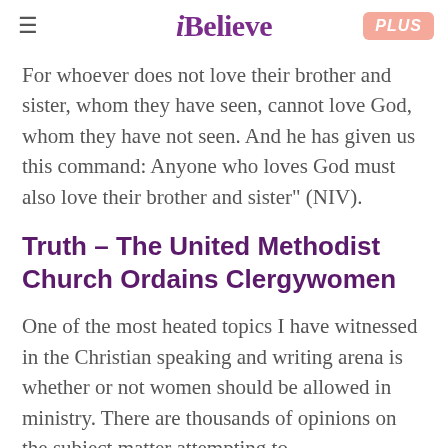≡ iBelieve PLUS
For whoever does not love their brother and sister, whom they have seen, cannot love God, whom they have not seen. And he has given us this command: Anyone who loves God must also love their brother and sister" (NIV).
Truth – The United Methodist Church Ordains Clergywomen
One of the most heated topics I have witnessed in the Christian speaking and writing arena is whether or not women should be allowed in ministry. There are thousands of opinions on the subject matter attempting to